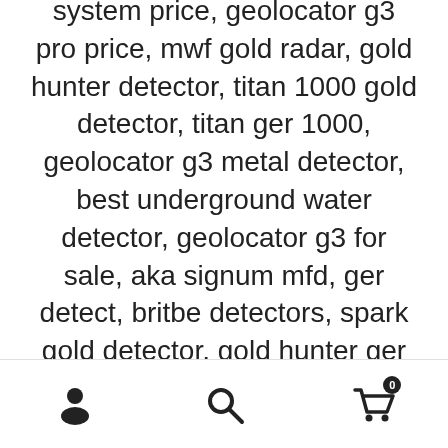system price, geolocator g3 pro price, mwf gold radar, gold hunter detector, titan 1000 gold detector, titan ger 1000, geolocator g3 metal detector, best underground water detector, geolocator g3 for sale, aka signum mfd, ger detect, britbe detectors, spark gold detector, gold hunter ger detect, detector de metales garrett, fresh result 2 system, rover uc metal detector price, okm rover uc metal detector price, diamond detector, golden mask 5 metal detector review, rover uc metal
[user icon] [search icon] [cart icon with 0]